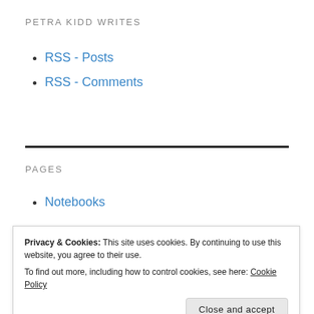PETRA KIDD WRITES
RSS - Posts
RSS - Comments
PAGES
Notebooks
Privacy & Cookies: This site uses cookies. By continuing to use this website, you agree to their use.
To find out more, including how to control cookies, see here: Cookie Policy
The Eight of Swords